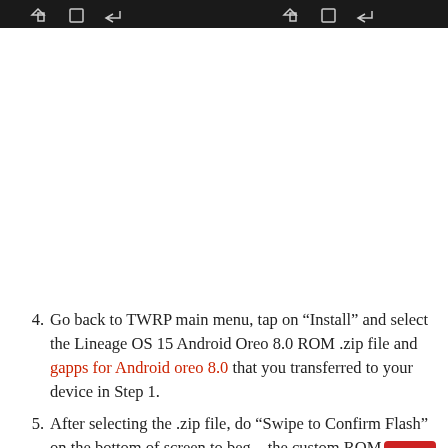[Figure (screenshot): Android device status bar with navigation icons (home, recent apps, back) shown twice side by side on dark background]
4. Go back to TWRP main menu, tap on “Install” and select the Lineage OS 15 Android Oreo 8.0 ROM .zip file and gapps for Android oreo 8.0 that you transferred to your device in Step 1.
5. After selecting the .zip file, do “Swipe to Confirm Flash” on the bottom of screen to begin the custom ROM installation process. This may